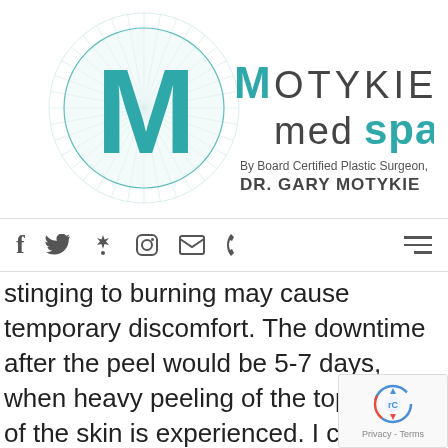[Figure (logo): Motykie MedSpa logo — circular sunburst design with large teal 'M', text 'MOTYKIE medspa By Board Certified Plastic Surgeon, DR. GARY MOTYKIE']
[Figure (other): Navigation bar with social media icons: Facebook, Twitter, Yelp, Instagram, Email, Phone, and hamburger menu]
stinging to burning may cause temporary discomfort. The downtime after the peel would be 5-7 days, when heavy peeling of the top layers of the skin is experienced. I could also expect itchiness, dryness and sensitivity to the sun on the affected areas during the peeling process. The application process of the Vi Peel went
[Figure (other): reCAPTCHA badge with Google recaptcha logo and 'Privacy - Terms' text]